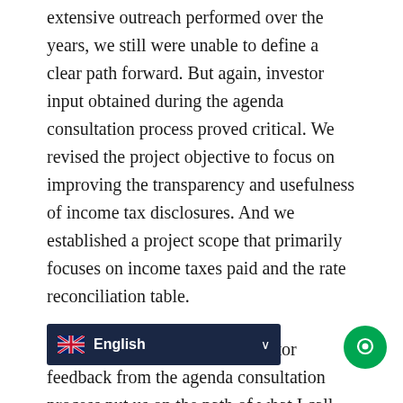extensive outreach performed over the years, we still were unable to define a clear path forward. But again, investor input obtained during the agenda consultation process proved critical. We revised the project objective to focus on improving the transparency and usefulness of income tax disclosures. And we established a project scope that primarily focuses on income taxes paid and the rate reconciliation table.
In both of these instances, investor feedback from the agenda consultation process put us on the path of what I call “achievable standard setting”—and by that, I mean projects that fulfill our mission and which can be completed.
W... her stakeholder priorities